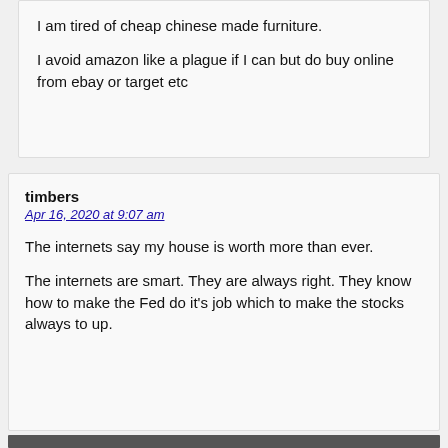I am tired of cheap chinese made furniture.

I avoid amazon like a plague if I can but do buy online from ebay or target etc
timbers
Apr 16, 2020 at 9:07 am
The internets say my house is worth more than ever.

The internets are smart. They are always right. They know how to make the Fed do it's job which to make the stocks always to up.